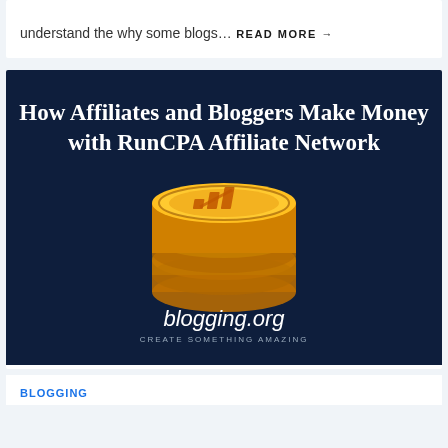understand the why some blogs…
READ MORE →
[Figure (illustration): Dark navy blue banner image with text 'How Affiliates and Bloggers Make Money with RunCPA Affiliate Network' and a stack of gold coins with bar chart icon, and blogging.org logo at bottom with 'CREATE SOMETHING AMAZING' tagline]
BLOGGING